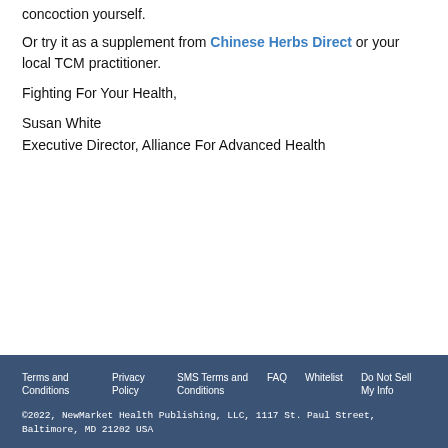concoction yourself.
Or try it as a supplement from Chinese Herbs Direct or your local TCM practitioner.
Fighting For Your Health,
Susan White
Executive Director, Alliance For Advanced Health
Terms and Conditions  Privacy Policy  SMS Terms and Conditions  FAQ  Whitelist  Do Not Sell My Info
©2022, NewMarket Health Publishing, LLC, 1117 St. Paul Street, Baltimore, MD 21202 USA